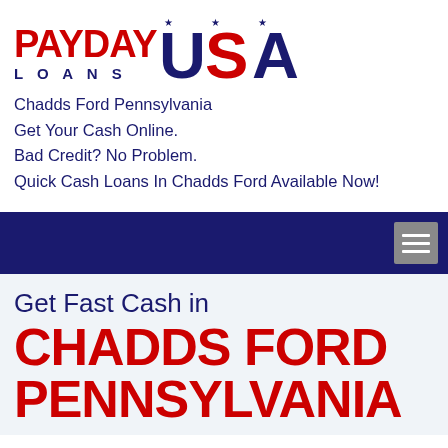[Figure (logo): Payday Loans USA logo with red PAYDAY text, navy LOANS text, and USA in red/navy/red gradient with stars]
Chadds Ford Pennsylvania
Get Your Cash Online.
Bad Credit? No Problem.
Quick Cash Loans In Chadds Ford Available Now!
[Figure (screenshot): Navy blue navigation bar with gray hamburger menu button on the right]
Get Fast Cash in CHADDS FORD PENNSYLVANIA